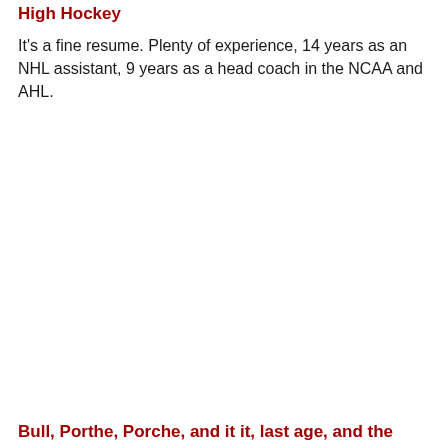High Hockey
It's a fine resume. Plenty of experience, 14 years as an NHL assistant, 9 years as a head coach in the NCAA and AHL.
Bull, Porthe, Porche, and it it, last age, and the